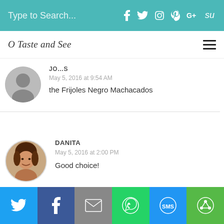Type to Search...
O Taste and See
JO…
May 5, 2016 at 9:54 AM
the Frijoles Negro Machacados
DANITA
May 5, 2016 at 2:00 PM
Good choice!
Twitter | Facebook | Email | WhatsApp | SMS | ShareThis